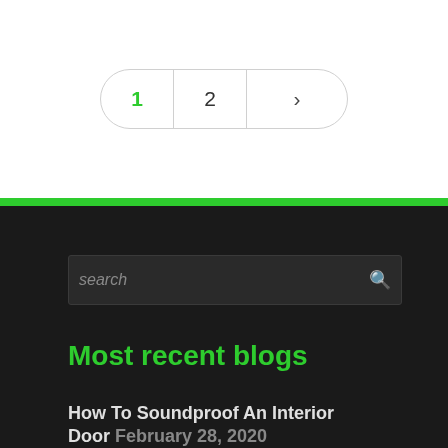Pagination: 1  2  >
[Figure (screenshot): Search input box with placeholder text 'search' and a magnifying glass icon on the right, dark background]
Most recent blogs
How To Soundproof An Interior Door  February 28, 2020